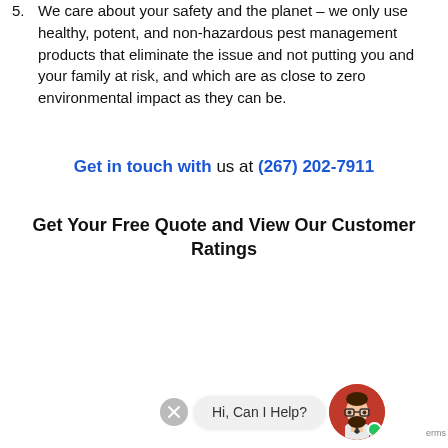5. We care about your safety and the planet – we only use healthy, potent, and non-hazardous pest management products that eliminate the issue and not putting you and your family at risk, and which are as close to zero environmental impact as they can be.
Get in touch with us at (267) 202-7911
Get Your Free Quote and View Our Customer Ratings
[Figure (illustration): Chat widget with close button (X), speech bubble saying 'Hi, Can I Help?', and a cartoon avatar of a bearded man with glasses and a green online dot.]